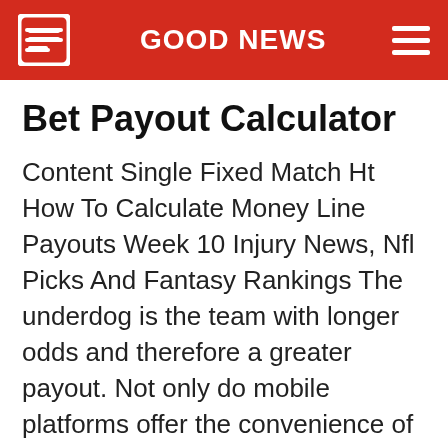GOOD NEWS
Bet Payout Calculator
Content Single Fixed Match Ht How To Calculate Money Line Payouts Week 10 Injury News, Nfl Picks And Fantasy Rankings The underdog is the team with longer odds and therefore a greater payout. Not only do mobile platforms offer the convenience of betting on the go, but certain sites may even offer special bonuses for …  Read More